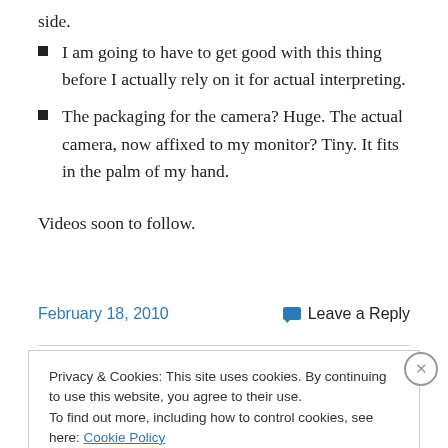side.
I am going to have to get good with this thing before I actually rely on it for actual interpreting.
The packaging for the camera? Huge. The actual camera, now affixed to my monitor? Tiny. It fits in the palm of my hand.
Videos soon to follow.
February 18, 2010
Leave a Reply
Privacy & Cookies: This site uses cookies. By continuing to use this website, you agree to their use. To find out more, including how to control cookies, see here: Cookie Policy
Close and accept